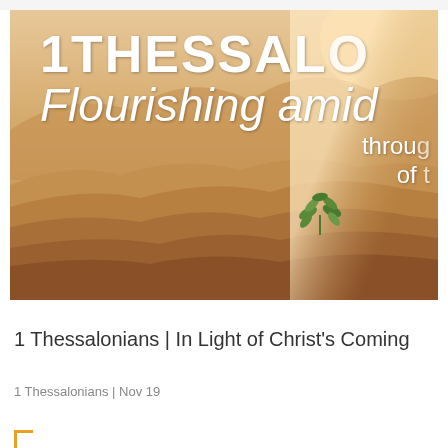[Figure (photo): Desert sand dunes with a small green plant growing in the middle, with text overlay reading '1 THESSALO' at top and 'Flourishing amid' and 'throug of t' below]
1 Thessalonians | In Light of Christ's Coming
1 Thessalonians | Nov 19